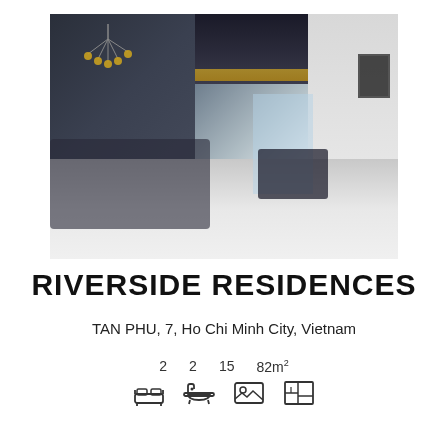[Figure (photo): Interior photo of a modern furnished apartment living/dining room with dark ceiling, chandelier, dining table, sofa area, large windows, and white tiled floor.]
RIVERSIDE RESIDENCES
TAN PHU, 7, Ho Chi Minh City, Vietnam
2  2  15  82m²
[Figure (infographic): Four property icons: bed, bathtub, image/view, floor plan layout]